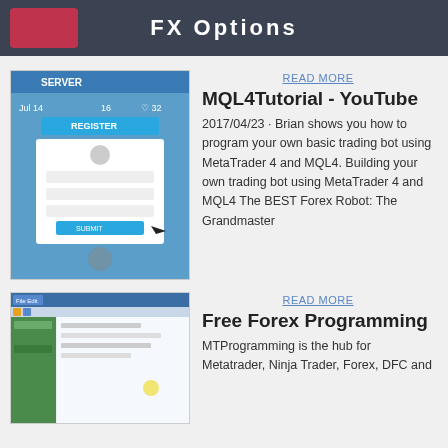FX Options
[Figure (screenshot): Screenshot of MetaTrader server registration page with blue UI, showing register form and account fields]
READ MORE
MQL4Tutorial - YouTube
2017/04/23 · Brian shows you how to program your own basic trading bot using MetaTrader 4 and MQL4. Building your own trading bot using MetaTrader 4 and MQL4 The BEST Forex Robot: The Grandmaster
[Figure (screenshot): Screenshot of MetaTrader 4 trading platform interface with charts and green sidebar]
READ MORE
Free Forex Programming
MTProgramming is the hub for Metatrader, Ninja Trader, Forex, DFC and